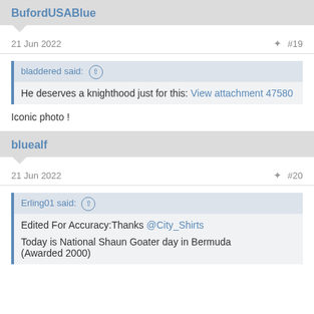BufordUSABlue
21 Jun 2022  #19
bladdered said: ↑
He deserves a knighthood just for this: View attachment 47580
Iconic photo !
bluealf
21 Jun 2022  #20
Erling01 said: ↑
Edited For Accuracy:Thanks @City_Shirts

Today is National Shaun Goater day in Bermuda
(Awarded 2000)